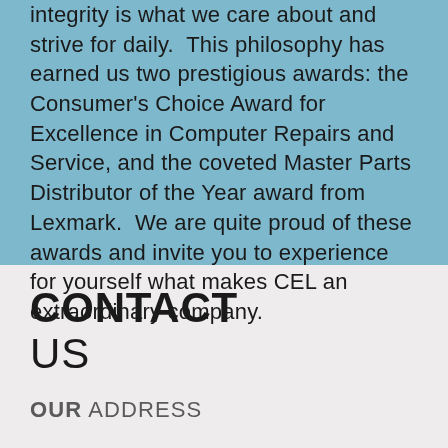integrity is what we care about and strive for daily.  This philosophy has earned us two prestigious awards: the Consumer's Choice Award for Excellence in Computer Repairs and Service, and the coveted Master Parts Distributor of the Year award from Lexmark.  We are quite proud of these awards and invite you to experience for yourself what makes CEL an extraordinary company.
CONTACT US
OUR ADDRESS